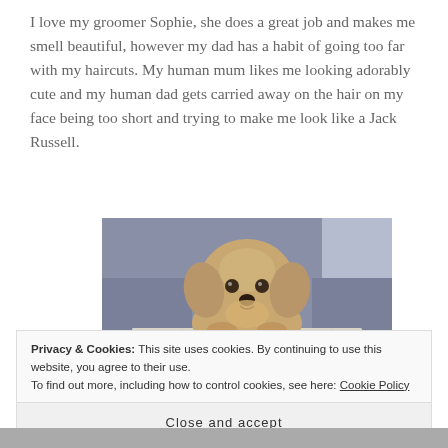I love my groomer Sophie, she does a great job and makes me smell beautiful, however my dad has a habit of going too far with my haircuts. My human mum likes me looking adorably cute and my human dad gets carried away on the hair on my face being too short and trying to make me look like a Jack Russell.
[Figure (photo): A small fluffy dog (Shih Tzu or similar breed) with golden-brown fur, resting its paws on a white tray or box, being held by a person in a blue-grey shirt.]
Privacy & Cookies: This site uses cookies. By continuing to use this website, you agree to their use.
To find out more, including how to control cookies, see here: Cookie Policy
Close and accept